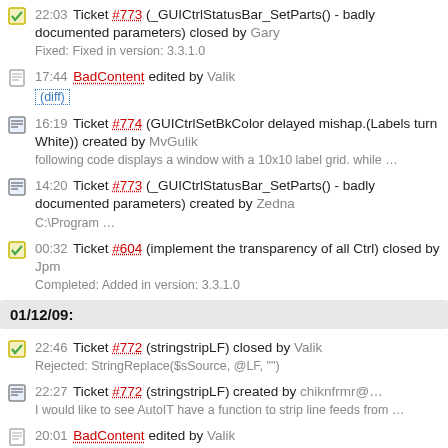22:03 Ticket #773 (_GUICtrlStatusBar_SetParts() - badly documented parameters) closed by Gary
Fixed: Fixed in version: 3.3.1.0
17:44 BadContent edited by Valik
(diff)
16:19 Ticket #774 (GUICtrlSetBkColor delayed mishap.(Labels turn White)) created by MvGulik
following code displays a window with a 10x10 label grid. while …
14:20 Ticket #773 (_GUICtrlStatusBar_SetParts() - badly documented parameters) created by Zedna
C:\Program …
00:32 Ticket #604 (implement the transparency of all Ctrl) closed by Jpm
Completed: Added in version: 3.3.1.0
01/12/09:
22:46 Ticket #772 (stringstripLF) closed by Valik
Rejected: StringReplace($sSource, @LF, "")
22:27 Ticket #772 (stringstripLF) created by chiknfrmr@…
I would like to see AutoIT have a function to strip line feeds from …
20:01 BadContent edited by Valik